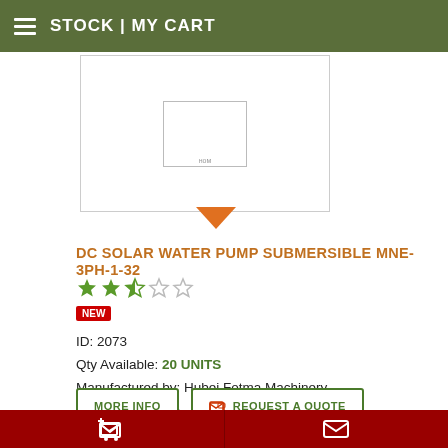STOCK | MY CART
[Figure (photo): Product image placeholder box with small inner rectangle labeled 'ном']
DC SOLAR WATER PUMP SUBMERSIBLE MNE-3PH-1-32
NEW
ID: 2073
Qty Available: 20 UNITS
Manufactured by: Hubei Fotma Machinery
The price: £P.O.A.
[Figure (photo): Next product image box partially visible at bottom]
Cart icon | Envelope icon